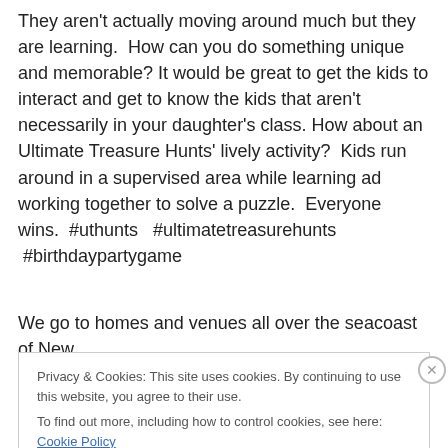They aren't actually moving around much but they are learning.  How can you do something unique and memorable? It would be great to get the kids to interact and get to know the kids that aren't necessarily in your daughter's class. How about an Ultimate Treasure Hunts' lively activity?  Kids run around in a supervised area while learning ad working together to solve a puzzle.  Everyone wins.  #uthunts   #ultimatetreasurehunts  #birthdaypartygame
We go to homes and venues all over the seacoast of New
Privacy & Cookies: This site uses cookies. By continuing to use this website, you agree to their use.
To find out more, including how to control cookies, see here: Cookie Policy
Close and accept